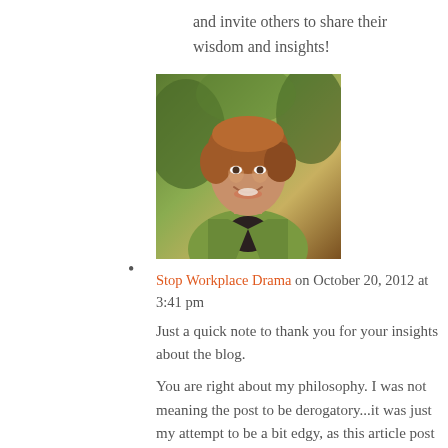and invite others to share their wisdom and insights!
[Figure (photo): Headshot photo of a smiling woman with short auburn/blonde hair, wearing a green blazer, with greenery in the background.]
Stop Workplace Drama on October 20, 2012 at 3:41 pm
Just a quick note to thank you for your insights about the blog.
You are right about my philosophy. I was not meaning the post to be derogatory...it was just my attempt to be a bit edgy, as this article post was inspired by a very funny conversation with a friend who used that phrase. Because I know him and adore him, I was trying to share the flavor of his humor.